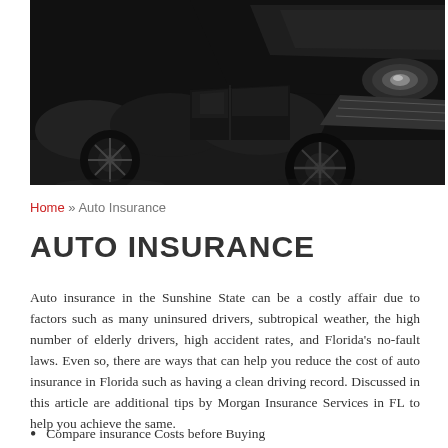[Figure (photo): Black and white photograph of black luxury cars parked in a row, showing the front headlight and wheel area in close detail]
Home » Auto Insurance
AUTO INSURANCE
Auto insurance in the Sunshine State can be a costly affair due to factors such as many uninsured drivers, subtropical weather, the high number of elderly drivers, high accident rates, and Florida's no-fault laws. Even so, there are ways that can help you reduce the cost of auto insurance in Florida such as having a clean driving record. Discussed in this article are additional tips by Morgan Insurance Services in FL to help you achieve the same.
Compare insurance Costs before Buying